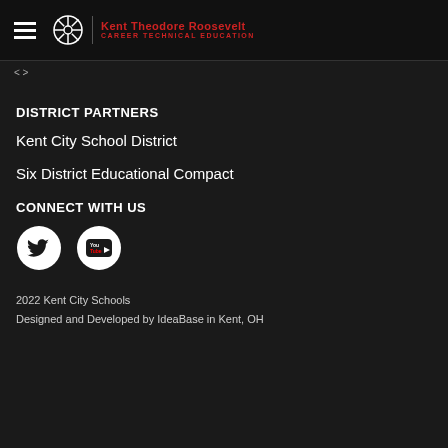Kent Theodore Roosevelt CAREER TECHNICAL EDUCATION
< >
DISTRICT PARTNERS
Kent City School District
Six District Educational Compact
CONNECT WITH US
[Figure (logo): Twitter and YouTube social media icons]
2022 Kent City Schools
Designed and Developed by IdeaBase in Kent, OH